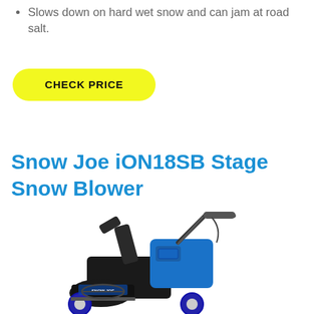Slows down on hard wet snow and can jam at road salt.
CHECK PRICE
Snow Joe iON18SB Stage Snow Blower
[Figure (photo): Photo of the Snow Joe iON18SB single-stage battery-powered snow blower, predominantly blue and black in color, shown at an angle against a white background]